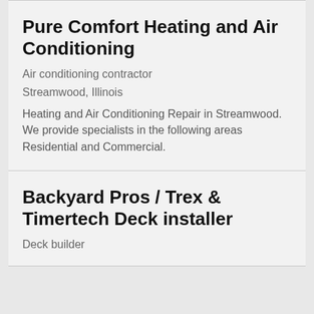Pure Comfort Heating and Air Conditioning
Air conditioning contractor
Streamwood, Illinois
Heating and Air Conditioning Repair in Streamwood. We provide specialists in the following areas Residential and Commercial.
Backyard Pros / Trex & Timertech Deck installer
Deck builder